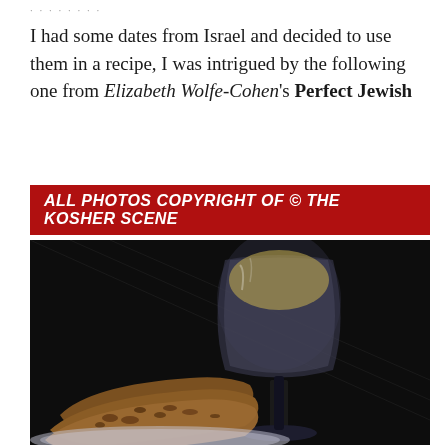I had some dates from Israel and decided to use them in a recipe, I was intrigued by the following one from Elizabeth Wolfe-Cohen's Perfect Jewish
ALL PHOTOS COPYRIGHT OF © THE KOSHER SCENE
[Figure (photo): A dark-background food photograph showing slices of a dense, fruit-studded date loaf/cake arranged on a plate, alongside a crystal wine goblet filled with a golden liquid.]